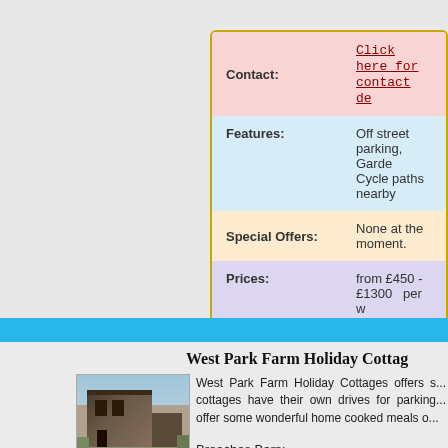| Field | Value |
| --- | --- |
| Contact: | Click here for contact details |
| Features: | Off street parking, Garden
Cycle paths nearby |
| Special Offers: | None at the moment. |
| Prices: | from £450 - £1300  per w |
| Sleeps: | 1 to 7 |
West Park Farm Holiday Cottages
[Figure (photo): Exterior photo of a rustic barn or cottage building with wooden/stone construction]
West Park Farm Holiday Cottages offers s... cottages have their own drives for parking... offer some wonderful home cooked meals ...
Breaches Barn: